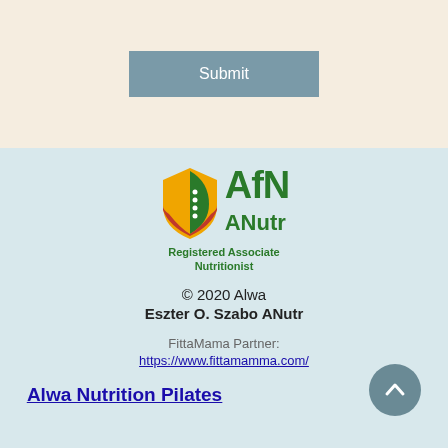[Figure (screenshot): Submit button on a beige/cream background]
[Figure (logo): AfN ANutr Registered Associate Nutritionist logo with shield icon in orange, green, and red]
© 2020 Alwa
Eszter O. Szabo ANutr
FittaMama Partner:
https://www.fittamamma.com/
Alwa Nutrition Pilates